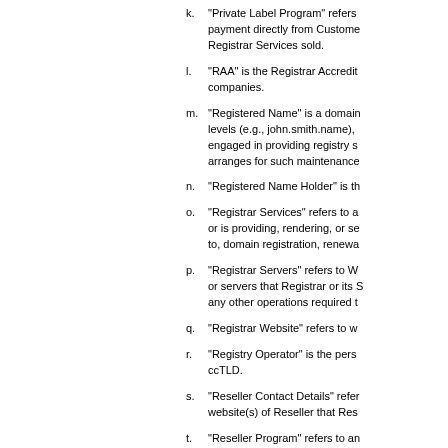k. "Private Label Program" refers to payment directly from Customer to Registrar Services sold.
l. "RAA" is the Registrar Accredit companies.
m. "Registered Name" is a domain levels (e.g., john.smith.name), engaged in providing registry s arranges for such maintenance
n. "Registered Name Holder" is th
o. "Registrar Services" refers to a or is providing, rendering, or se to, domain registration, renewa
p. "Registrar Servers" refers to W or servers that Registrar or its S any other operations required t
q. "Registrar Website" refers to w
r. "Registry Operator" is the pers ccTLD.
s. "Reseller Contact Details" refer website(s) of Reseller that Res
t. "Reseller Program" refers to an Wholesale, WholesalePlus or A reseller programs to be offered